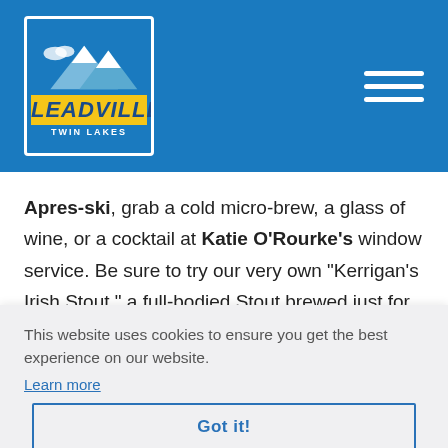[Figure (logo): Leadville Twin Lakes logo with mountain graphic on blue background, white border]
Apres-ski, grab a cold micro-brew, a glass of wine, or a cocktail at Katie O'Rourke's window service. Be sure to try our very own “Kerrigan’s Irish Stout,” a full-bodied Stout brewed just for Katie’s. Slainte!
NEW FOR 2021-22
This website uses cookies to ensure you get the best experience on our website. Learn more Got it!